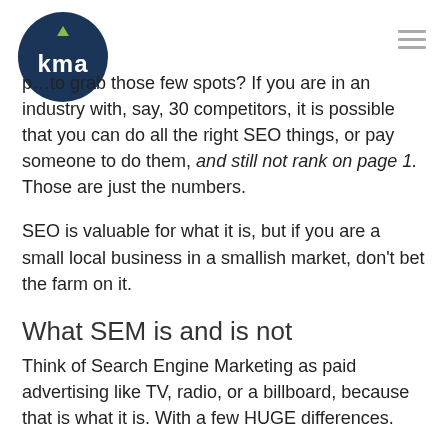[Figure (logo): KMA logo: dark blue circle with white 'kma' text and small yellow/green upward arrow above the letters]
p...to grab those few spots? If you are in an industry with, say, 30 competitors, it is possible that you can do all the right SEO things, or pay someone to do them, and still not rank on page 1. Those are just the numbers.
SEO is valuable for what it is, but if you are a small local business in a smallish market, don't bet the farm on it.
What SEM is and is not
Think of Search Engine Marketing as paid advertising like TV, radio, or a billboard, because that is what it is. With a few HUGE differences.
SEM is highly targeted
If you place a TV ad or post a billboard, you are